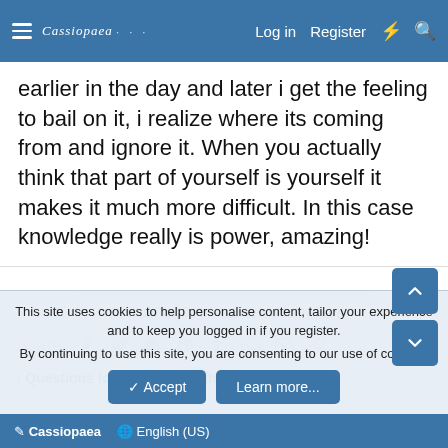Cassiopaea | Log in | Register
earlier in the day and later i get the feeling to bail on it, i realize where its coming from and ignore it. When you actually think that part of yourself is yourself it makes it much more difficult. In this case knowledge really is power, amazing!
You must log in or register to reply here.
Share:
Questions for the SOTT Editors
Cassiopaea  English (US)
This site uses cookies to help personalise content, tailor your experience and to keep you logged in if you register. By continuing to use this site, you are consenting to our use of cookies.
Accept  Learn more...